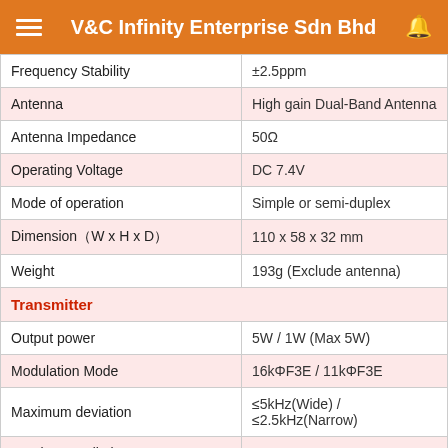V&C Infinity Enterprise Sdn Bhd
| Parameter | Value |
| --- | --- |
| Frequency Stability | ±2.5ppm |
| Antenna | High gain Dual-Band Antenna |
| Antenna Impedance | 50Ω |
| Operating Voltage | DC 7.4V |
| Mode of operation | Simple or semi-duplex |
| Dimension（W x H x D） | 110 x 58 x 32 mm |
| Weight | 193g (Exclude antenna) |
| Transmitter |  |
| Output power | 5W / 1W (Max 5W) |
| Modulation Mode | 16kΦF3E / 11kΦF3E |
| Maximum deviation | ≤5kHz(Wide) / ≤2.5kHz(Narrow) |
| Spurious Radiation | ≤7μW |
| Adjacent Ch. power | ≤-65dB(Wide) / ≤-60dB(Narrow) |
| Pre-emphasis characteristics | 6dB |
| Current | ≤1.6A(5W) |